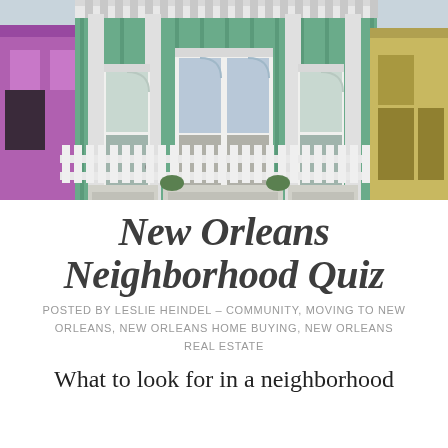[Figure (photo): Photograph of a colorful New Orleans shotgun-style house with green siding, white trim, white picket fence, and adjacent purple and yellow houses]
New Orleans Neighborhood Quiz
POSTED BY LESLIE HEINDEL – COMMUNITY, MOVING TO NEW ORLEANS, NEW ORLEANS HOME BUYING, NEW ORLEANS REAL ESTATE
What to look for in a neighborhood